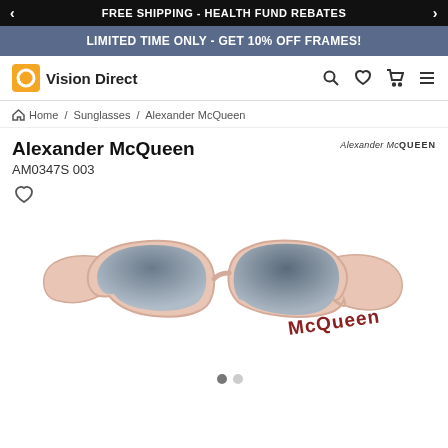FREE SHIPPING - HEALTH FUND REBATES
LIMITED TIME ONLY - GET 10% OFF FRAMES!
Vision Direct
Home / Sunglasses / Alexander McQueen
Alexander McQueen
AM0347S 003
[Figure (photo): Pink Alexander McQueen sunglasses with cat-eye frames and 'McQueen' graffiti lettering on the temple, gradient grey lenses]
Alexander McQueen AM0347S 003 sunglasses product image